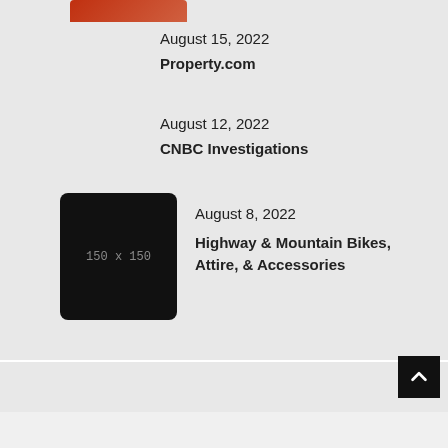[Figure (photo): Partially visible thumbnail image clipped at top of page, appears reddish-brown in color]
August 15, 2022
Property.com
August 12, 2022
CNBC Investigations
[Figure (photo): Black placeholder image showing '150 x 150' text in gray]
August 8, 2022
Highway & Mountain Bikes, Attire, & Accessories